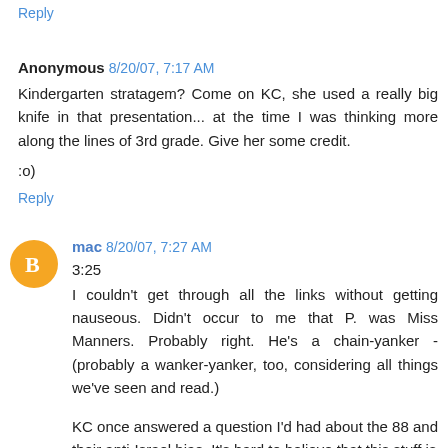Reply
Anonymous 8/20/07, 7:17 AM
Kindergarten stratagem? Come on KC, she used a really big knife in that presentation... at the time I was thinking more along the lines of 3rd grade. Give her some credit.
:o)
Reply
mac 8/20/07, 7:27 AM
3:25
I couldn't get through all the links without getting nauseous. Didn't occur to me that P. was Miss Manners. Probably right. He's a chain-yanker - (probably a wanker-yanker, too, considering all things we've seen and read.)
KC once answered a question I'd had about the 88 and their anti-Israel bias. It's hard to believe that this stuff is